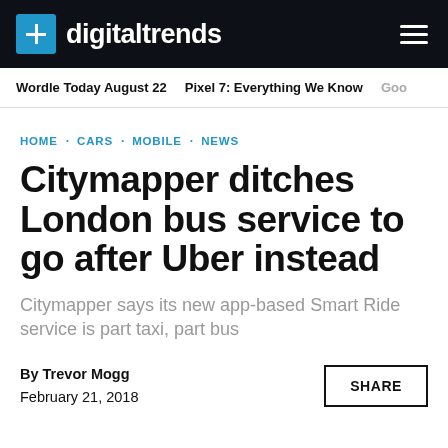digitaltrends
Wordle Today August 22   Pixel 7: Everything We Know   Goo
HOME · CARS · MOBILE · NEWS
Citymapper ditches London bus service to go after Uber instead
Citymapper says its new app-based Smart Ride service is part taxi, part bus
By Trevor Mogg
February 21, 2018
SHARE